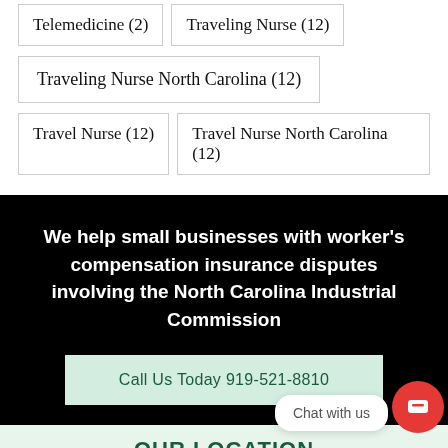Telemedicine (2)
Traveling Nurse (12)
Traveling Nurse North Carolina (12)
Travel Nurse (12)
Travel Nurse North Carolina (12)
We help small businesses with worker's compensation insurance disputes involving the North Carolina Industrial Commission
Call Us Today 919-521-8810
Chat with us
OUR LOCATION